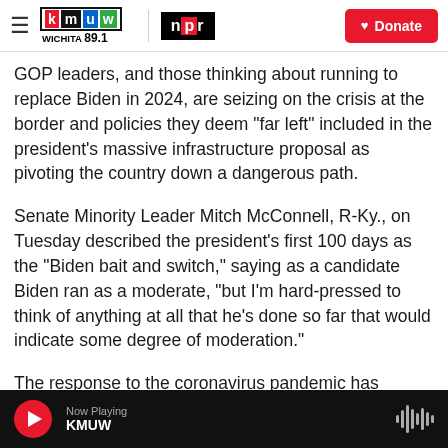KMUW Wichita 89.1 | NPR | Donate
GOP leaders, and those thinking about running to replace Biden in 2024, are seizing on the crisis at the border and policies they deem "far left" included in the president's massive infrastructure proposal as pivoting the country down a dangerous path.
Senate Minority Leader Mitch McConnell, R-Ky., on Tuesday described the president's first 100 days as the "Biden bait and switch," saying as a candidate Biden ran as a moderate, "but I'm hard-pressed to think of anything at all that he's done so far that would indicate some degree of moderation."
The response to the coronavirus pandemic has
Now Playing KMUW